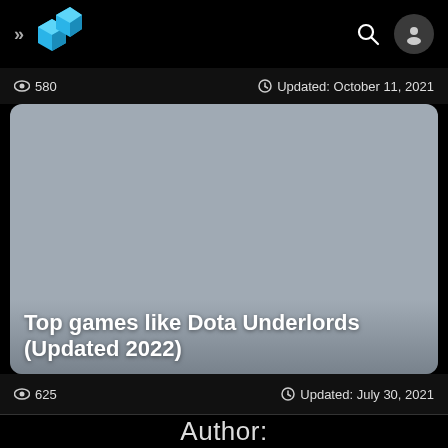>> [logo] [search] [avatar]
580   Updated: October 11, 2021
[Figure (screenshot): Gray placeholder image for article card with title overlay 'Top games like Dota Underlords (Updated 2022)']
Top games like Dota Underlords (Updated 2022)
625   Updated: July 30, 2021
Author: